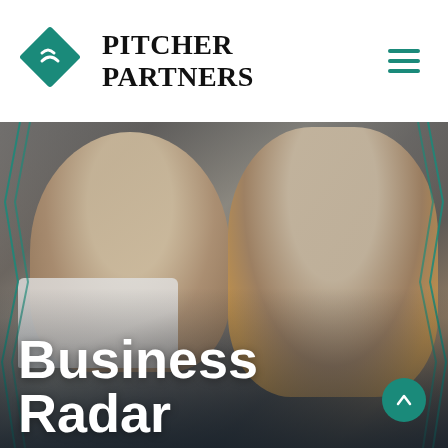[Figure (logo): Pitcher Partners logo: teal diamond shape with stylized 'P' mark, followed by wordmark 'PITCHER PARTNERS' in serif bold uppercase]
[Figure (illustration): Hamburger menu icon with three teal horizontal lines]
[Figure (photo): Hero image showing two men looking at a laptop screen — a younger man with beard on the left and an older grey-bearded man in a mustard knit cardigan on the right, with teal geometric accent lines overlaid on the sides]
Business
Radar